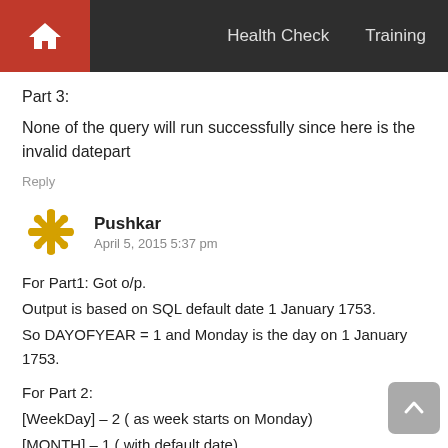Health Check   Training
Part 3:
None of the query will run successfully since here is the invalid datepart
Reply
Pushkar
April 5, 2015 5:37 pm
For Part1: Got o/p.
Output is based on SQL default date 1 January 1753.
So DAYOFYEAR = 1 and Monday is the day on 1 January 1753.

For Part 2:
[WeekDay] – 2 ( as week starts on Monday)
[MONTH] – 1 ( with default date)

For Part3: